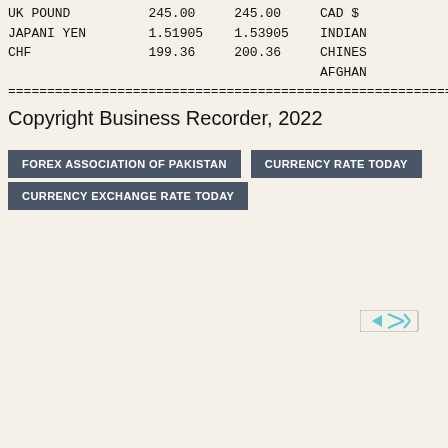| CURRENCY | BUYING | SELLING |  |
| --- | --- | --- | --- |
| UK POUND | 245.00 | 245.00 | CAD $ |
| JAPANI YEN | 1.51905 | 1.53905 | INDIAN |
| CHF | 199.36 | 200.36 | CHINES |
|  |  |  | AFGHAN |
================================================================
Copyright Business Recorder, 2022
FOREX ASSOCIATION OF PAKISTAN
CURRENCY RATE TODAY
CURRENCY EXCHANGE RATE TODAY